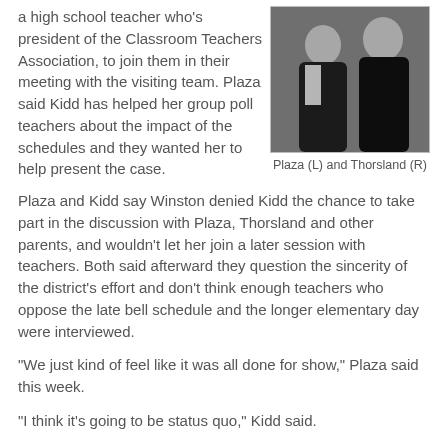a high school teacher who's president of the Classroom Teachers Association,  to join them in their meeting with the visiting team.  Plaza said Kidd has helped her group poll teachers about the impact of the schedules and they wanted her to help present the case.
[Figure (photo): Photo of two people, Plaza (L) and Thorsland (R)]
Plaza (L) and Thorsland (R)
Plaza and Kidd say Winston denied Kidd the chance to take part in the discussion with Plaza, Thorsland and other parents,  and wouldn't let her join a later session with teachers. Both said afterward they question the sincerity of the district's effort and don't think enough teachers who oppose the late bell schedule and the longer elementary day were interviewed.
"We just kind of feel like it was all done for show,"  Plaza said this week.
"I think it's going to be status quo,"  Kidd said.